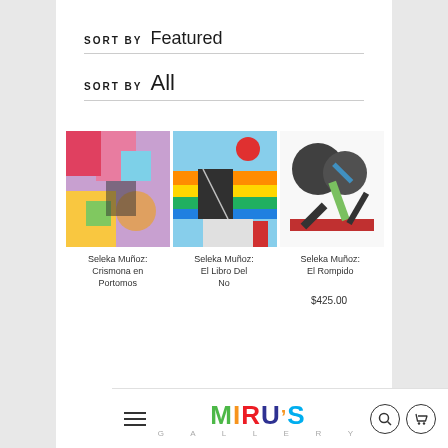SORT BY Featured
SORT BY All
[Figure (photo): Three abstract artworks side by side: colorful abstract painting, abstract with rainbow and geometric shapes, abstract with dark circular forms]
Seleka Muñoz: Crismona en Portomos
Seleka Muñoz: El Libro Del No
Seleka Muñoz: El Rompido
$425.00
MIRUS GALLERY — navigation bar with hamburger menu, search and cart icons